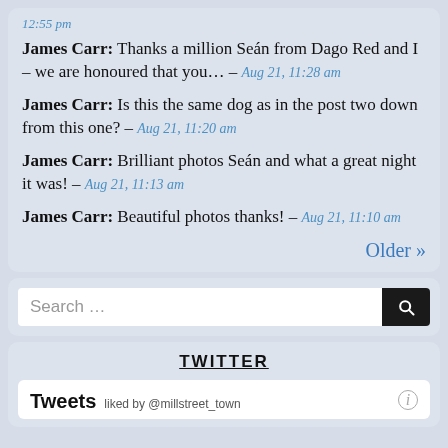12:55 pm
James Carr: Thanks a million Seán from Dago Red and I – we are honoured that you... – Aug 21, 11:28 am
James Carr: Is this the same dog as in the post two down from this one? – Aug 21, 11:20 am
James Carr: Brilliant photos Seán and what a great night it was! – Aug 21, 11:13 am
James Carr: Beautiful photos thanks! – Aug 21, 11:10 am
Older »
[Figure (screenshot): Search box with text 'Search...' and a black search button with magnifying glass icon]
TWITTER
Tweets liked by @millstreet_town